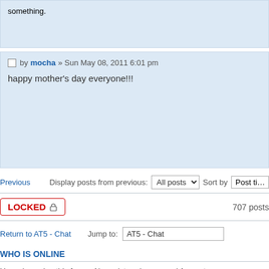something.
Post by mocha » Sun May 08, 2011 6:01 pm
happy mother's day everyone!!!
Previous   Display posts from previous: All posts  Sort by  Post time
LOCKED  707 posts
Return to AT5 - Chat   Jump to: AT5 - Chat
WHO IS ONLINE
Users browsing this forum: No registered users and 1 guest
Board index   The team • Delete a
Powered by phpBB® Forum Software © phpBB Gr